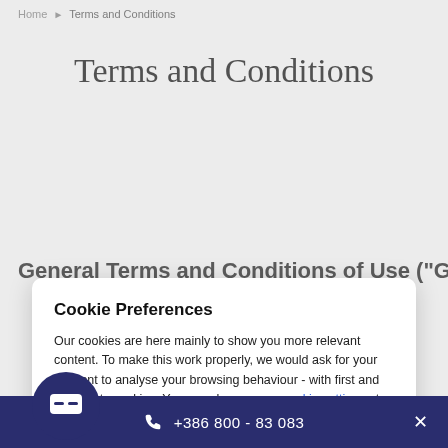Home ▶ Terms and Conditions
Terms and Conditions
General Terms and Conditions of Use ("GTC")
Cookie Preferences
Our cookies are here mainly to show you more relevant content. To make this work properly, we would ask for your consent to analyse your browsing behaviour - with first and third party cookies. You can change your cookie settings at any time. You can find our data protection information here.
Accept All Cookies
Cookie Preferences
📞 +386 800 - 83 083